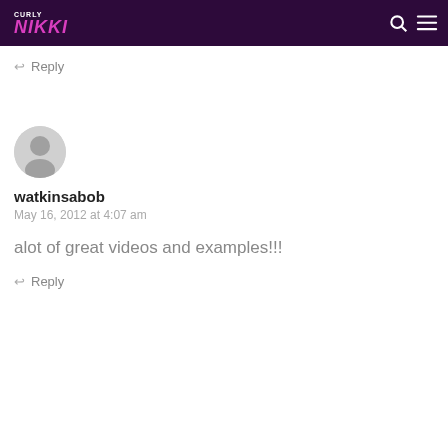Curly Nikki
Reply
[Figure (illustration): Generic grey user avatar circle]
watkinsabob
May 16, 2012 at 4:07 am
alot of great videos and examples!!!
Reply